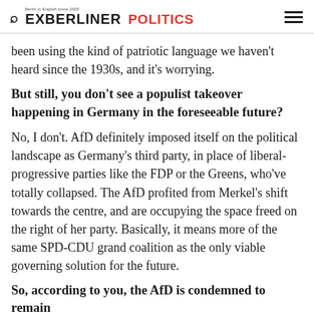EXBERLINER POLITICS
been using the kind of patriotic language we haven't heard since the 1930s, and it's worrying.
But still, you don't see a populist takeover happening in Germany in the foreseeable future?
No, I don't. AfD definitely imposed itself on the political landscape as Germany's third party, in place of liberal-progressive parties like the FDP or the Greens, who've totally collapsed. The AfD profited from Merkel's shift towards the centre, and are occupying the space freed on the right of her party. Basically, it means more of the same SPD-CDU grand coalition as the only viable governing solution for the future.
So, according to you, the AfD is condemned to remain